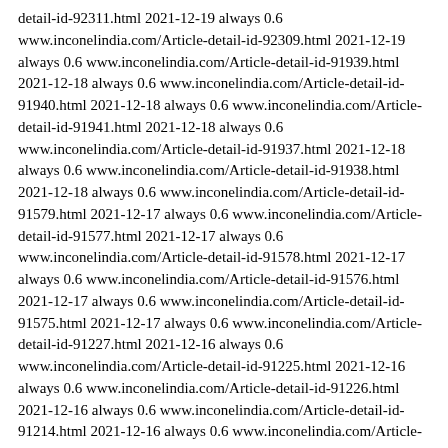detail-id-92311.html 2021-12-19 always 0.6 www.inconelindia.com/Article-detail-id-92309.html 2021-12-19 always 0.6 www.inconelindia.com/Article-detail-id-91939.html 2021-12-18 always 0.6 www.inconelindia.com/Article-detail-id-91940.html 2021-12-18 always 0.6 www.inconelindia.com/Article-detail-id-91941.html 2021-12-18 always 0.6 www.inconelindia.com/Article-detail-id-91937.html 2021-12-18 always 0.6 www.inconelindia.com/Article-detail-id-91938.html 2021-12-18 always 0.6 www.inconelindia.com/Article-detail-id-91579.html 2021-12-17 always 0.6 www.inconelindia.com/Article-detail-id-91577.html 2021-12-17 always 0.6 www.inconelindia.com/Article-detail-id-91578.html 2021-12-17 always 0.6 www.inconelindia.com/Article-detail-id-91576.html 2021-12-17 always 0.6 www.inconelindia.com/Article-detail-id-91575.html 2021-12-17 always 0.6 www.inconelindia.com/Article-detail-id-91227.html 2021-12-16 always 0.6 www.inconelindia.com/Article-detail-id-91225.html 2021-12-16 always 0.6 www.inconelindia.com/Article-detail-id-91226.html 2021-12-16 always 0.6 www.inconelindia.com/Article-detail-id-91214.html 2021-12-16 always 0.6 www.inconelindia.com/Article-detail-id-91213.html 2021-12-16 always 0.6 www.inconelindia.com/Product-detail-id-14815.html 2021-12-16 always 0.6 www.inconelindia.com/Product-detail-id-14814.html 2021-12-16 always 0.6 www.inconelindia.com/Product-detail-id-14813.html 2021-12-16 always 0.6